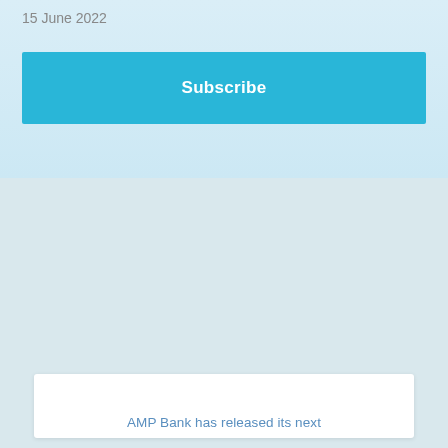15 June 2022
Subscribe
[Figure (logo): AMP Bank logo — dark navy 'AMP' text with a stylized blue flower/starburst icon, followed by light blue 'bank' text]
AMP Bank has released its next